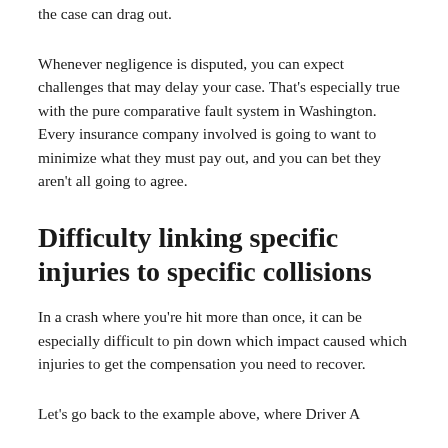the case can drag out.
Whenever negligence is disputed, you can expect challenges that may delay your case. That's especially true with the pure comparative fault system in Washington. Every insurance company involved is going to want to minimize what they must pay out, and you can bet they aren't all going to agree.
Difficulty linking specific injuries to specific collisions
In a crash where you're hit more than once, it can be especially difficult to pin down which impact caused which injuries to get the compensation you need to recover.
Let's go back to the example above, where Driver A